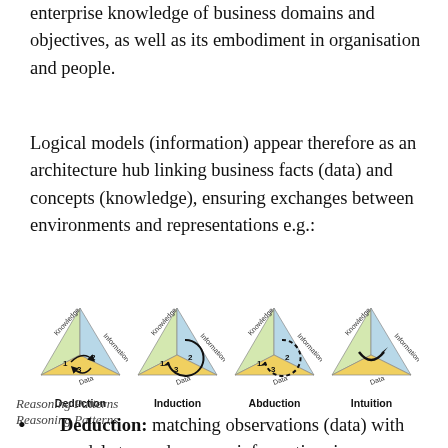enterprise knowledge of business domains and objectives, as well as its embodiment in organisation and people.
Logical models (information) appear therefore as an architecture hub linking business facts (data) and concepts (knowledge), ensuring exchanges between environments and representations e.g.:
[Figure (illustration): Four triangular diagrams representing reasoning patterns: Deduction, Induction, Abduction, and Intuition. Each triangle has three faces labeled Knowledge, Information, and Data, with arrows showing the reasoning cycle numbered 1, 2, 3 in different orders.]
Reasoning Patterns
Deduction: matching observations (data) with models to produce new information, i.e.